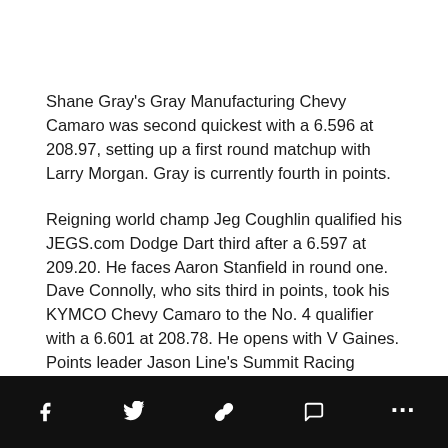Shane Gray's Gray Manufacturing Chevy Camaro was second quickest with a 6.596 at 208.97, setting up a first round matchup with Larry Morgan. Gray is currently fourth in points.
Reigning world champ Jeg Coughlin qualified his JEGS.com Dodge Dart third after a 6.597 at 209.20. He faces Aaron Stanfield in round one. Dave Connolly, who sits third in points, took his KYMCO Chevy Camaro to the No. 4 qualifier with a 6.601 at 208.78. He opens with V Gaines. Points leader Jason Line's Summit Racing Chevy Camaro went 6.605 at 209.56, claiming the fifth
Social toolbar icons: Facebook, Twitter, Link, Comment, More